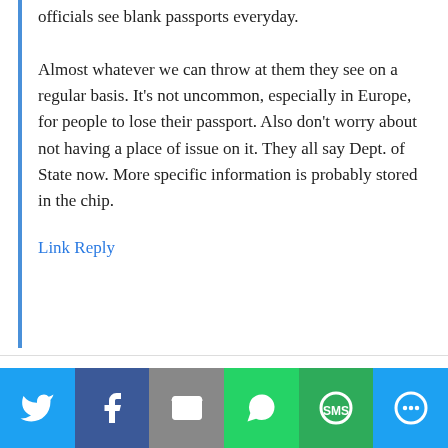officials see blank passports everyday. Almost whatever we can throw at them they see on a regular basis. It’s not uncommon, especially in Europe, for people to lose their passport. Also don’t worry about not having a place of issue on it. They all say Dept. of State now. More specific information is probably stored in the chip.
Link Reply
Dwie